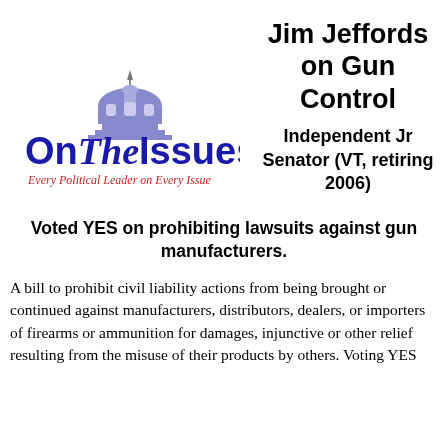[Figure (logo): OnTheIssues logo: dome icon above 'OnTheIssues' in blue serif/sans text, with red italic tagline 'Every Political Leader on Every Issue']
Jim Jeffords on Gun Control
Independent Jr Senator (VT, retiring 2006)
Voted YES on prohibiting lawsuits against gun manufacturers.
A bill to prohibit civil liability actions from being brought or continued against manufacturers, distributors, dealers, or importers of firearms or ammunition for damages, injunctive or other relief resulting from the misuse of their products by others. Voting YES